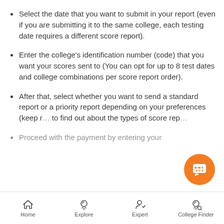Select the date that you want to submit in your report (even if you are submitting it to the same college, each testing date requires a different score report).
Enter the college's identification number (code) that you want your scores sent to (You can opt for up to 8 test dates and college combinations per score report order).
After that, select whether you want to send a standard report or a priority report depending on your preferences (keep r... to find out about the types of score rep...).
Proceed with the payment by entering your...
[Figure (other): Orange circular chat button with speech bubble icon in bottom right corner]
Home | Explore | Expert | College Finder